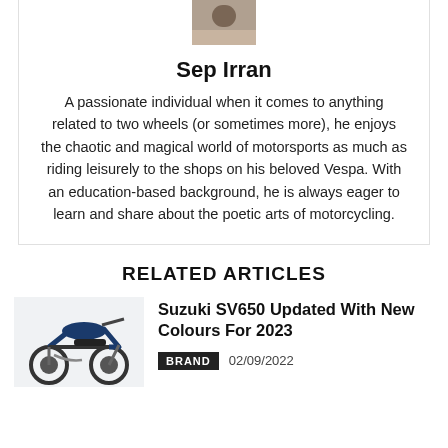[Figure (photo): Author profile photo of Sep Irran]
Sep Irran
A passionate individual when it comes to anything related to two wheels (or sometimes more), he enjoys the chaotic and magical world of motorsports as much as riding leisurely to the shops on his beloved Vespa. With an education-based background, he is always eager to learn and share about the poetic arts of motorcycling.
RELATED ARTICLES
[Figure (photo): Suzuki SV650 motorcycle in blue/dark colour]
Suzuki SV650 Updated With New Colours For 2023
BRAND  02/09/2022